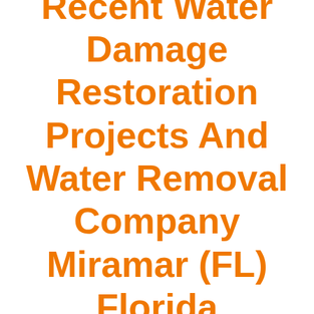Recent Water Damage Restoration Projects And Water Removal Company Miramar (FL) Florida